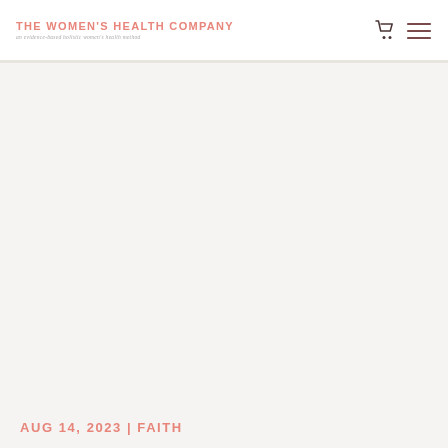THE WOMEN'S HEALTH COMPANY — an evidence-based holistic women's health method
AUG 14, 2023 | FAITH